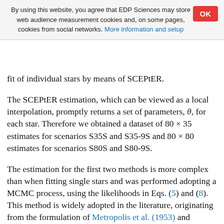By using this website, you agree that EDP Sciences may store web audience measurement cookies and, on some pages, cookies from social networks. More information and setup
fit of individual stars by means of SCEPtER.
The SCEPtER estimation, which can be viewed as a local interpolation, promptly returns a set of parameters, θ, for each star. Therefore we obtained a dataset of 80 × 35 estimates for scenarios S35S and S35-9S and 80 × 80 estimates for scenarios S80S and S80-9S.
The estimation for the first two methods is more complex than when fitting single stars and was performed adopting a MCMC process, using the likelihoods in Eqs. (5) and (8). This method is widely adopted in the literature, originating from the formulation of Metropolis et al. (1953) and Hastings